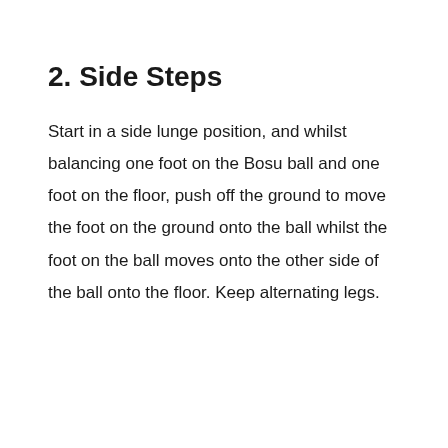2. Side Steps
Start in a side lunge position, and whilst balancing one foot on the Bosu ball and one foot on the floor, push off the ground to move the foot on the ground onto the ball whilst the foot on the ball moves onto the other side of the ball onto the floor. Keep alternating legs.